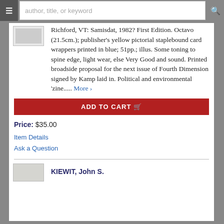author, title, or keyword
Richford, VT: Samisdat, 1982? First Edition. Octavo (21.5cm.); publisher's yellow pictorial staplebound card wrappers printed in blue; 51pp.; illus. Some toning to spine edge, light wear, else Very Good and sound. Printed broadside proposal for the next issue of Fourth Dimension signed by Kamp laid in. Political and environmental 'zine..... More ›
ADD TO CART
Price: $35.00
Item Details
Ask a Question
KIEWIT, John S.